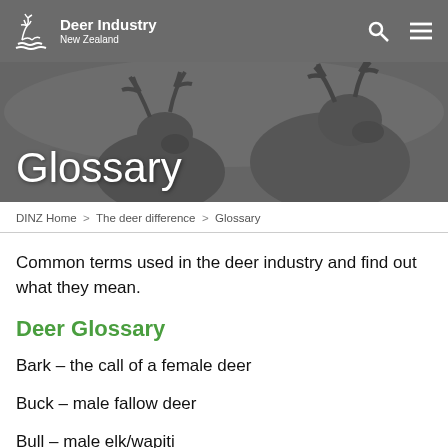Deer Industry New Zealand
[Figure (photo): Black and white photo of deer with antlers used as hero banner background]
Glossary
DINZ Home > The deer difference > Glossary
Common terms used in the deer industry and find out what they mean.
Deer Glossary
Bark – the call of a female deer
Buck – male fallow deer
Bull – male elk/wapiti